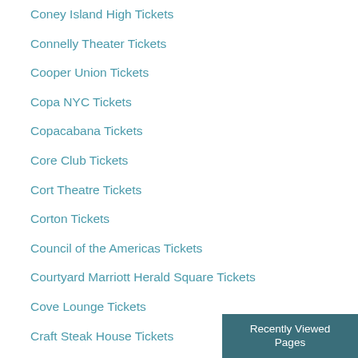Coney Island High Tickets
Connelly Theater Tickets
Cooper Union Tickets
Copa NYC Tickets
Copacabana Tickets
Core Club Tickets
Cort Theatre Tickets
Corton Tickets
Council of the Americas Tickets
Courtyard Marriott Herald Square Tickets
Cove Lounge Tickets
Craft Steak House Tickets
Crobar - NY Tickets
Crowne Plaza Times Square Tickets
Culturefix Tickets
Da Silvano Restaurant Tickets
Recently Viewed Pages